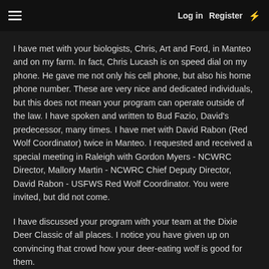≡   Log in   Register   ⚡
I have met with your biologists, Chris, Art and Ford, in Manteo and on my farm. In fact, Chris Lucash is on speed dial on my phone. He gave me not only his cell phone, but also his home phone number. These are very nice and dedicated individuals, but this does not mean your program can operate outside of the law. I have spoken and written to Bud Fazio, David's predecessor, many times. I have met with David Rabon (Red Wolf Coordinator) twice in Manteo. I requested and received a special meeting in Raleigh with Gordon Myers - NCWRC Director, Mallory Martin - NCWRC Chief Deputy Director, David Rabon - USFWS Red Wolf Coordinator. You were invited, but did not come.
I have discussed your program with your team at the Dixie Deer Classic of all places. I notice you have given up on convincing that crowd how your deer-eating wolf is good for them.